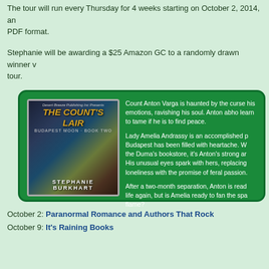The tour will run every Thursday for 4 weeks starting on October 2, 2014, an PDF format.
Stephanie will be awarding a $25 Amazon GC to a randomly drawn winner v tour.
[Figure (illustration): Book cover for 'The Count's Lair, Budapest Moon Book Two' by Stephanie Burkhart, shown inside a green rounded rectangle box alongside book description text.]
October 2: Paranormal Romance and Authors That Rock
October 9: It's Raining Books